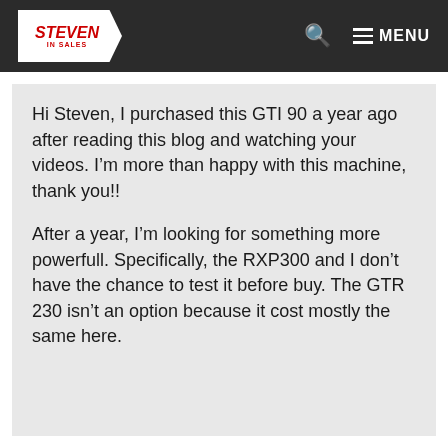STEVEN IN SALES — MENU
Hi Steven, I purchased this GTI 90 a year ago after reading this blog and watching your videos. I’m more than happy with this machine, thank you!!
After a year, I’m looking for something more powerfull. Specifically, the RXP300 and I don’t have the chance to test it before buy. The GTR 230 isn’t an option because it cost mostly the same here.